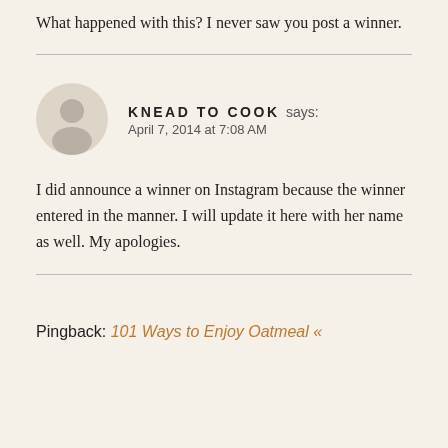What happened with this? I never saw you post a winner.
KNEAD TO COOK says:
April 7, 2014 at 7:08 AM

I did announce a winner on Instagram because the winner entered in the manner. I will update it here with her name as well. My apologies.
Pingback: 101 Ways to Enjoy Oatmeal «